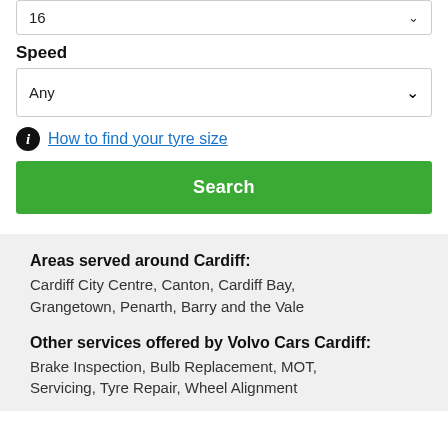16
Speed
Any
How to find your tyre size
Search
Areas served around Cardiff:
Cardiff City Centre, Canton, Cardiff Bay, Grangetown, Penarth, Barry and the Vale
Other services offered by Volvo Cars Cardiff:
Brake Inspection, Bulb Replacement, MOT, Servicing, Tyre Repair, Wheel Alignment